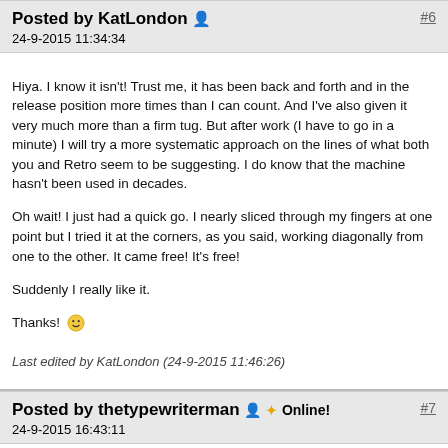Posted by KatLondon  #6
24-9-2015 11:34:34
Hiya. I know it isn't! Trust me, it has been back and forth and in the release position more times than I can count. And I've also given it very much more than a firm tug. But after work (I have to go in a minute) I will try a more systematic approach on the lines of what both you and Retro seem to be suggesting.  I do know that the machine hasn't been used in decades.

Oh wait! I just had a quick go. I nearly sliced through my fingers at one point but I tried it at the corners, as you said, working diagonally from one to the other. It came free! It's free!

Suddenly I really like it.

Thanks! 🙂
Last edited by KatLondon (24-9-2015 11:46:26)
Posted by thetypewriterman  Online!  #7
24-9-2015 16:43:11